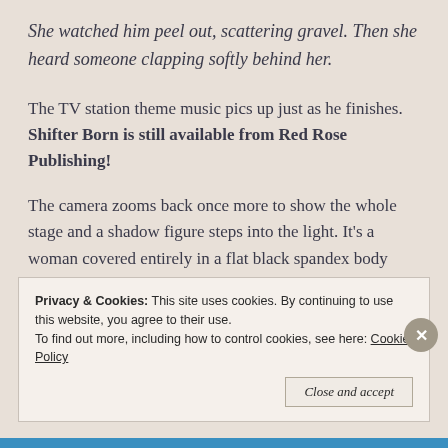She watched him peel out, scattering gravel. Then she heard someone clapping softly behind her.
The TV station theme music pics up just as he finishes. Shifter Born is still available from Red Rose Publishing!
The camera zooms back once more to show the whole stage and a shadow figure steps into the light. It’s a woman covered entirely in a flat black spandex body stocking. Only her hands and feet are bare and they might properly be called ‘paws’.
Privacy & Cookies: This site uses cookies. By continuing to use this website, you agree to their use.
To find out more, including how to control cookies, see here: Cookie Policy
Close and accept